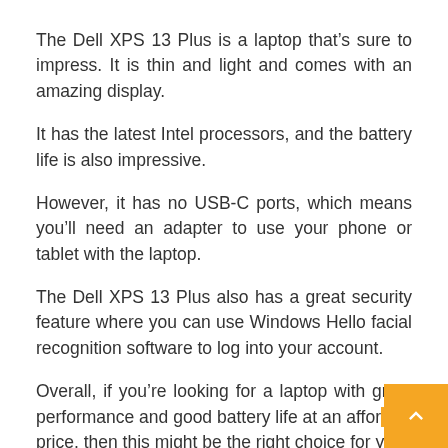The Dell XPS 13 Plus is a laptop that’s sure to impress. It is thin and light and comes with an amazing display.
It has the latest Intel processors, and the battery life is also impressive.
However, it has no USB-C ports, which means you’ll need an adapter to use your phone or tablet with the laptop.
The Dell XPS 13 Plus also has a great security feature where you can use Windows Hello facial recognition software to log into your account.
Overall, if you’re looking for a laptop with great performance and good battery life at an affor… price, then this might be the right choice for yo…